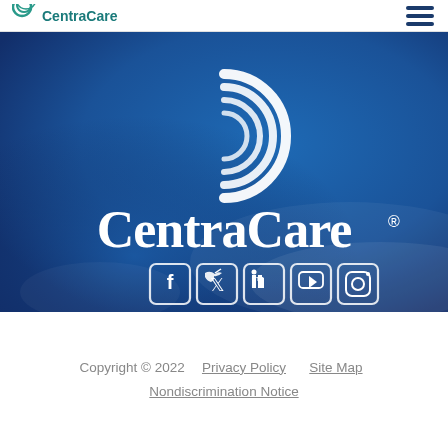CentraCare
[Figure (logo): CentraCare logo and social media icons on a dark blue textured background. The logo features a stylized white C with concentric arc lines above the word CentraCare in white with a registered trademark symbol.]
Copyright © 2022   Privacy Policy   Site Map   Nondiscrimination Notice